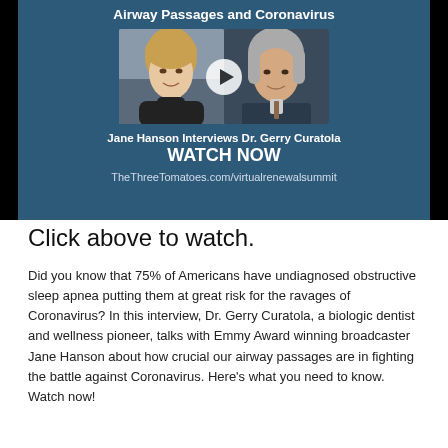[Figure (screenshot): Video banner with dark blue background showing two people (Jane Hanson and Dr. Gerry Curatola) with a play button overlay. Title reads 'Airway Passages and Coronavirus'. Text below reads 'Jane Hanson Interviews Dr. Gerry Curatola', 'WATCH NOW', and 'TheThreeTomatoes.com/virtualrenewalsummit'.]
Click above to watch.
Did you know that 75% of Americans have undiagnosed obstructive sleep apnea putting them at great risk for the ravages of Coronavirus? In this interview, Dr. Gerry Curatola, a biologic dentist and wellness pioneer, talks with Emmy Award winning broadcaster Jane Hanson about how crucial our airway passages are in fighting the battle against Coronavirus. Here's what you need to know. Watch now!